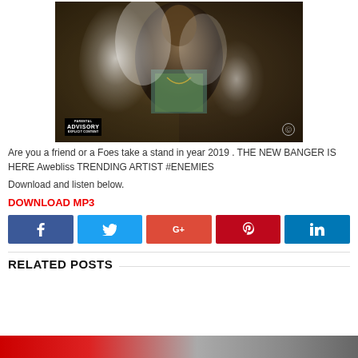[Figure (photo): Music artist promotional photo with smoke effects and Parental Advisory label in bottom left]
Are you a friend or a Foes take a stand in year 2019 . THE NEW BANGER IS HERE Awebliss TRENDING ARTIST #ENEMIES
Download and listen below.
DOWNLOAD MP3
[Figure (infographic): Social share buttons: Facebook, Twitter, Google+, Pinterest, LinkedIn]
RELATED POSTS
[Figure (photo): Bottom partial related post image]